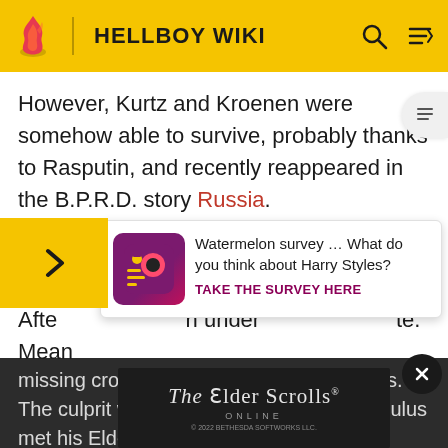HELLBOY WIKI
However, Kurtz and Kroenen were somehow able to survive, probably thanks to Rasputin, and recently reappeared in the B.P.R.D. story Russia.
Almost Colossus
Main article: Almost Colossus
[Figure (infographic): Watermelon survey popup ad: 'Watermelon survey … What do you think about Harry Styles?' with TAKE THE SURVEY HERE call to action and colorful survey app icon]
missing cross and several missing corpses. The culprit was the... stead, the homunculus met his Elder Brother, who told him of his creator and of their plans to overthrow mankind. Hellboy and Kate discovered the homunculus' lair where they
[Figure (screenshot): The Elder Scrolls Online advertisement banner — © 2022 BETHESDA SOFTWORKS LLC.]